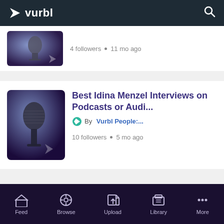vurbl
4 followers • 11 mo ago
Best Idina Menzel Interviews on Podcasts or Audi...
By Vurbl People:...
10 followers • 5 mo ago
Feed  Browse  Upload  Library  More